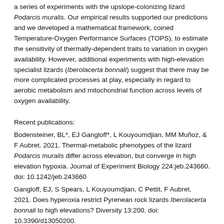a series of experiments with the upslope-colonizing lizard Podarcis muralis. Our empirical results supported our predictions and we developed a mathematical framework, coined Temperature-Oxygen Performance Surfaces (TOPS), to estimate the sensitivity of thermally-dependent traits to variation in oxygen availability. However, additional experiments with high-elevation specialist lizards (Iberolacerta bonnali) suggest that there may be more complicated processes at play, especially in regard to aerobic metabolism and mitochondrial function across levels of oxygen availability.
Recent publications:
Bodensteiner, BL*, EJ Gangloff*, L Kouyoumdjian, MM Muñoz, & F Aubret. 2021. Thermal-metabolic phenotypes of the lizard Podarcis muralis differ across elevation, but converge in high elevation hypoxia. Journal of Experiment Biology 224:jeb.243660. doi: 10.1242/jeb.243660
Gangloff, EJ, S Spears, L Kouyoumdjian, C Pettit, F Aubret. 2021. Does hyperoxia restrict Pyrenean rock lizards Iberolacerta bonnali to high elevations? Diversity 13:200. doi: 10.3390/d13050200.
Gangloff, EJ*, TS Schwartz*, R Klabacka, N Huebschman, AY Liu, AM Bronikowski. 2020. Mitochondria as the central character in a complex